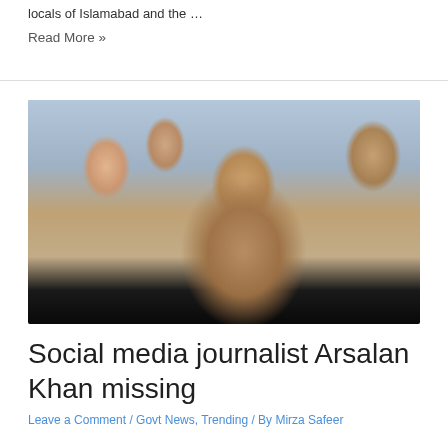locals of Islamabad and the …
Read More »
[Figure (photo): A smiling man with a beard posing in a close-up selfie-style photo with family members including a woman and children in the background, wearing casual clothes.]
Social media journalist Arsalan Khan missing
Leave a Comment / Govt News, Trending / By Mirza Safeer